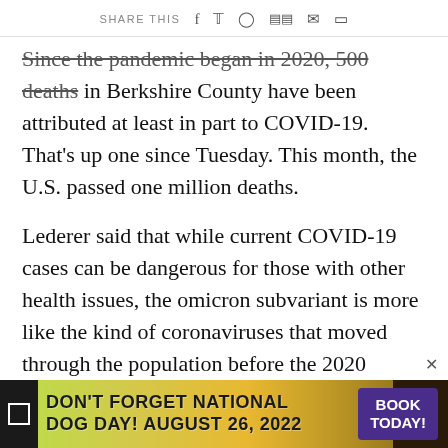SHARE THIS
Since the pandemic began in 2020, 500 deaths in Berkshire County have been attributed at least in part to COVID-19. That's up one since Tuesday. This month, the U.S. passed one million deaths.
Lederer said that while current COVID-19 cases can be dangerous for those with other health issues, the omicron subvariant is more like the kind of coronaviruses that moved through the population before the 2020 arrival of the “novel” kind.
[Figure (other): Advertisement banner: DON'T FORGET NATIONAL DOG DAY! AUGUST 26, 2022 with BOOK TODAY! button]